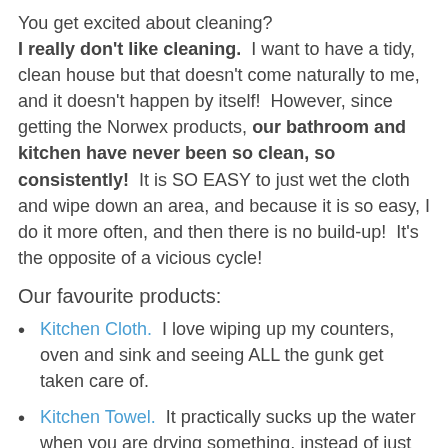You get excited about cleaning? I really don't like cleaning. I want to have a tidy, clean house but that doesn't come naturally to me, and it doesn't happen by itself! However, since getting the Norwex products, our bathroom and kitchen have never been so clean, so consistently! It is SO EASY to just wet the cloth and wipe down an area, and because it is so easy, I do it more often, and then there is no build-up! It's the opposite of a vicious cycle!
Our favourite products:
Kitchen Cloth. I love wiping up my counters, oven and sink and seeing ALL the gunk get taken care of.
Kitchen Towel. It practically sucks up the water when you are drying something, instead of just spreading it around.
Dish Cloth. I use this for washing dishes. Though it seems like a strange design, it is surprisingly pleasant to use and very effective.